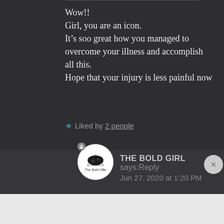Wow!!
Girl, you are an icon.
It’s soo great how you managed to overcome your illness and accomplish all this.
Hope that your injury is less painful now
★ Liked by 2 people
THE BOLD GIRL says: Reply
Jun 27, 2020 at 1:20 PM
Advertisements
Launch your online course with WordPress  Learn More